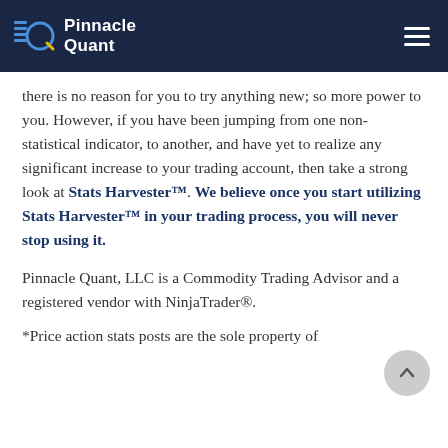Pinnacle Quant
there is no reason for you to try anything new; so more power to you. However, if you have been jumping from one non-statistical indicator, to another, and have yet to realize any significant increase to your trading account, then take a strong look at Stats Harvester™. We believe once you start utilizing Stats Harvester™ in your trading process, you will never stop using it.
Pinnacle Quant, LLC is a Commodity Trading Advisor and a registered vendor with NinjaTrader®.
*Price action stats posts are the sole property of